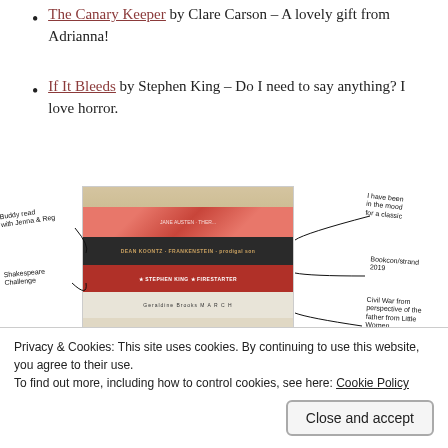The Canary Keeper by Clare Carson – A lovely gift from Adrianna!
If It Bleeds by Stephen King – Do I need to say anything? I love horror.
[Figure (photo): A stack of books photographed on a wooden shelf with handwritten annotations around the image pointing to individual books. Books visible include Dean Koontz Frankenstein Prodigal Son, Stephen King Firestarter, Geraldine Brooks March, Liz Nugent Skin Deep, Gaiman Anansi Boys, Civil War River Carol Morris. Handwritten notes include: Buddy read with Jenna & Reg, Shakespeare Challenge, one of the best thriller authors, I have been in the mood for a classic, Bookcon/strand 2019, Civil War from perspective of the father from Little Women, talented author and recommended.]
Privacy & Cookies: This site uses cookies. By continuing to use this website, you agree to their use.
To find out more, including how to control cookies, see here: Cookie Policy
Close and accept